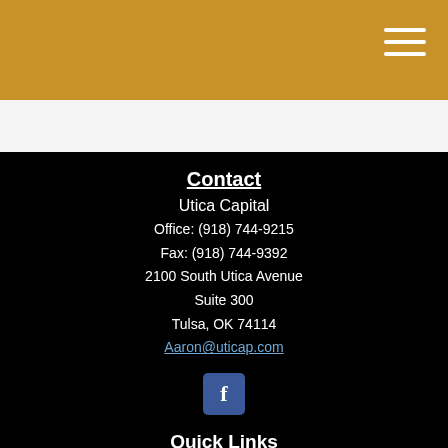Contact
Utica Capital
Office: (918) 744-9215
Fax: (918) 744-9392
2100 South Utica Avenue
Suite 300
Tulsa, OK 74114
Aaron@uticap.com
[Figure (logo): Facebook logo icon — white 'f' on dark blue rounded rectangle background]
Quick Links
Retirement
Investment